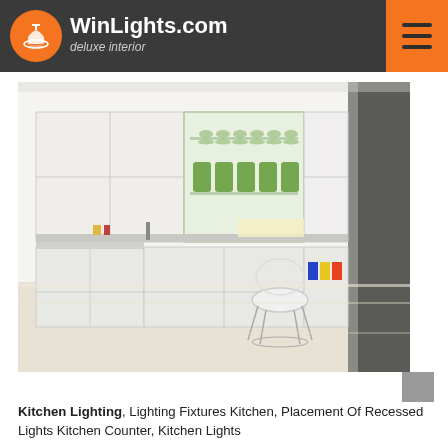WinLights.com deluxe interior
[Figure (photo): Modern white minimalist kitchen with flat-panel cabinets, open shelving with wine glasses and bottles, a white wire chair, and bright lighting]
Kitchen Lighting, Lighting Fixtures Kitchen, Placement Of Recessed Lights Kitchen Counter, Kitchen Lights